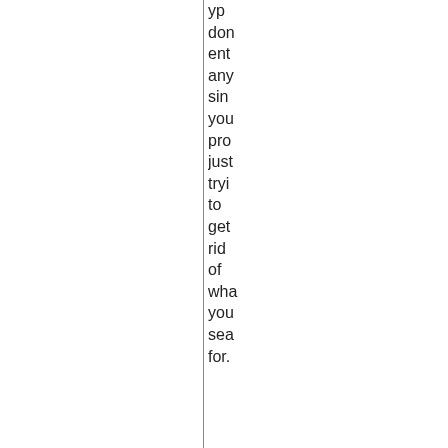yp don ent any sin you pro just tryi to get rid of wha you sea for.